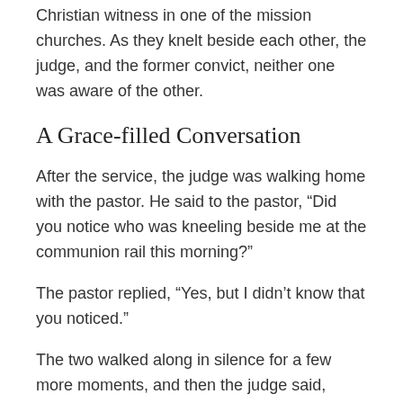Christian witness in one of the mission churches. As they knelt beside each other, the judge, and the former convict, neither one was aware of the other.
A Grace-filled Conversation
After the service, the judge was walking home with the pastor. He said to the pastor, “Did you notice who was kneeling beside me at the communion rail this morning?”
The pastor replied, “Yes, but I didn’t know that you noticed.”
The two walked along in silence for a few more moments, and then the judge said, “What a miracle of grace.”
The pastor nodded in agreement, “Yes, what a